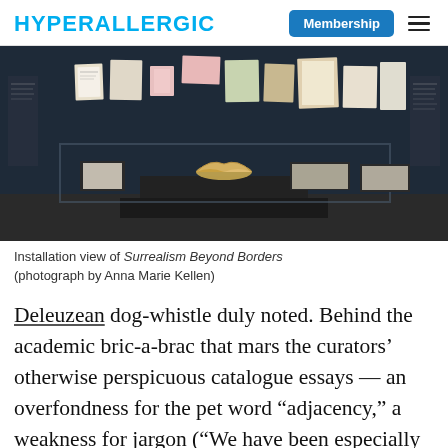HYPERALLERGIC | Membership
[Figure (photo): Installation view of a museum display case in a dark-walled gallery showing various documents, artworks, and an open gilded book on a pedestal inside a glass case. Items are mounted on the dark back wall.]
Installation view of Surrealism Beyond Borders (photograph by Anna Marie Kellen)
Deleuzean dog-whistle duly noted. Behind the academic bric-a-brac that mars the curators’ otherwise perspicuous catalogue essays — an overfondness for the pet word “adjacency,” a weakness for jargon (“We have been especially